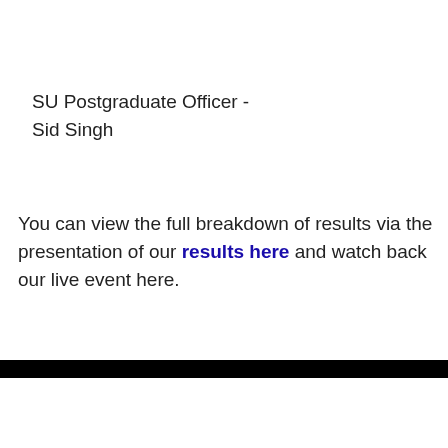SU Postgraduate Officer -
Sid Singh
You can view the full breakdown of results via the presentation of our results here and watch back our live event here.
[Figure (screenshot): Cookie consent overlay on a dark video player background showing 'SU Officer Results Night' video with a cookie notice reading 'This website uses cookies' and two buttons: 'I UNDERSTAND' and 'TELL ME MORE']